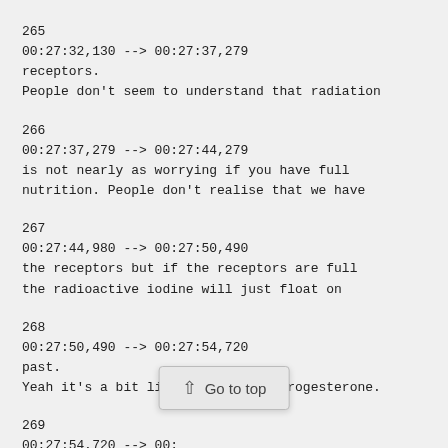265
00:27:32,130 --> 00:27:37,279
receptors.
People don't seem to understand that radiation
266
00:27:37,279 --> 00:27:44,279
is not nearly as worrying if you have full
nutrition. People don't realise that we have
267
00:27:44,980 --> 00:27:50,490
the receptors but if the receptors are full
the radioactive iodine will just float on
268
00:27:50,490 --> 00:27:54,720
past.
Yeah it's a bit like the natural progesterone.
269
00:27:54,720 --> 00:
I have first hand e                  ch this and